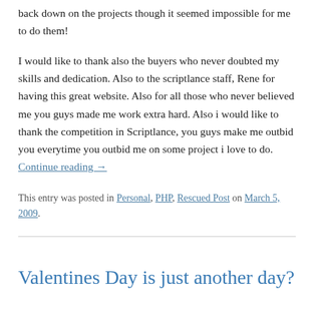back down on the projects though it seemed impossible for me to do them!
I would like to thank also the buyers who never doubted my skills and dedication. Also to the scriptlance staff, Rene for having this great website. Also for all those who never believed me you guys made me work extra hard. Also i would like to thank the competition in Scriptlance, you guys make me outbid you everytime you outbid me on some project i love to do. Continue reading →
This entry was posted in Personal, PHP, Rescued Post on March 5, 2009.
Valentines Day is just another day?